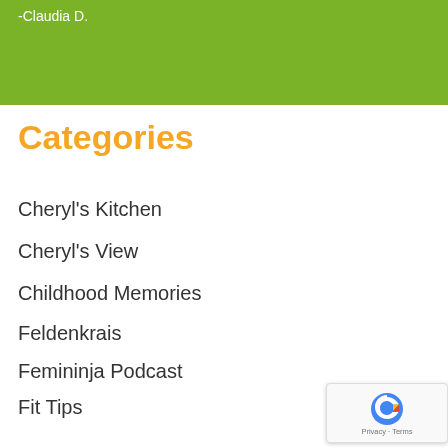[Figure (other): Green banner background with attribution text]
-Claudia D.
Categories
Cheryl's Kitchen
Cheryl's View
Childhood Memories
Feldenkrais
Femininja Podcast
Fit Tips
Health Tips
Joyful Holidays